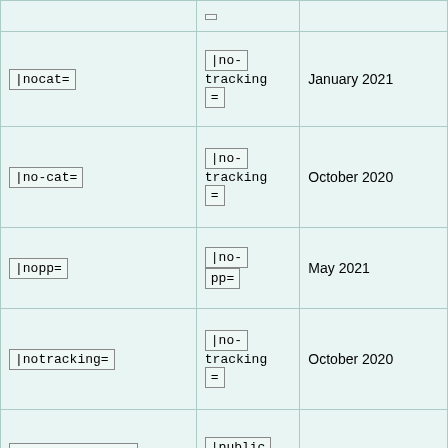| Parameter | Alias | Since |
| --- | --- | --- |
| |nocat= | |no-tracking= | January 2021 |
| |no-cat= | |no-tracking= | October 2020 |
| |nopp= | |no-pp= | May 2021 |
| |notracking= | |no-tracking= | October 2020 |
| |publicationdate= | |publication-date= | May 2021 |
|  | |public |  |